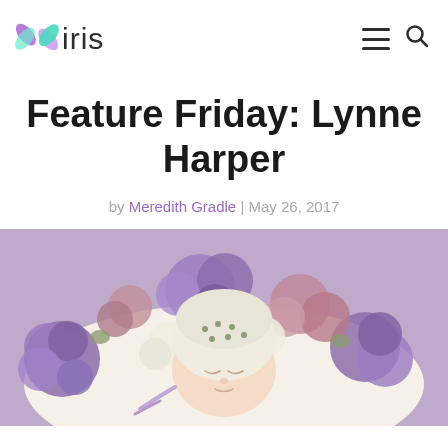iris (logo and navigation)
Feature Friday: Lynne Harper
by Meredith Gradle | May 26, 2017
[Figure (photo): Newborn baby sleeping in a floral wreath arrangement with purple, pink, white and green hydrangeas on a purple background, wearing a white knit bonnet with green flower details]